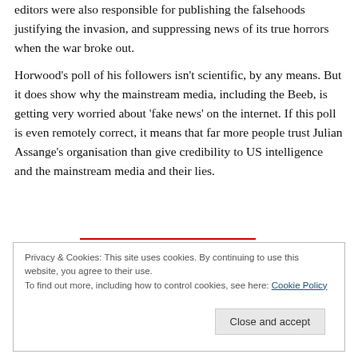editors were also responsible for publishing the falsehoods justifying the invasion, and suppressing news of its true horrors when the war broke out.
Horwood's poll of his followers isn't scientific, by any means. But it does show why the mainstream media, including the Beeb, is getting very worried about 'fake news' on the internet. If this poll is even remotely correct, it means that far more people trust Julian Assange's organisation than give credibility to US intelligence and the mainstream media and their lies.
Privacy & Cookies: This site uses cookies. By continuing to use this website, you agree to their use.
To find out more, including how to control cookies, see here: Cookie Policy